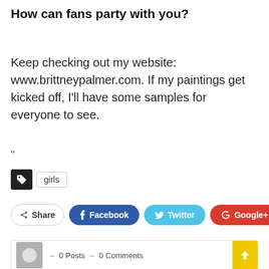How can fans party with you?
Keep checking out my website: www.brittneypalmer.com. If my paintings get kicked off, I'll have some samples for everyone to see.
"
girls
Share  Facebook  Twitter  Google+  +
– 0 Posts  – 0 Comments